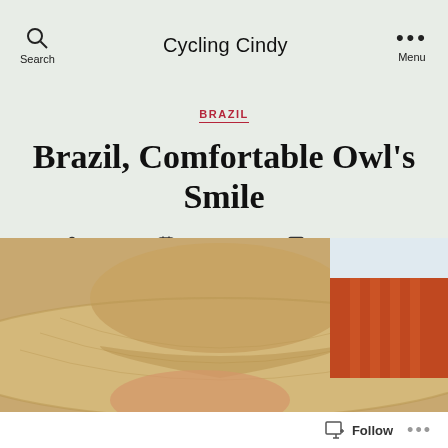Cycling Cindy
BRAZIL
Brazil, Comfortable Owl's Smile
By Cindy   August 9, 2016   8 Comments
[Figure (photo): Close-up photograph of a person wearing a wide-brimmed straw hat, with a red/orange striped building in the background]
Follow